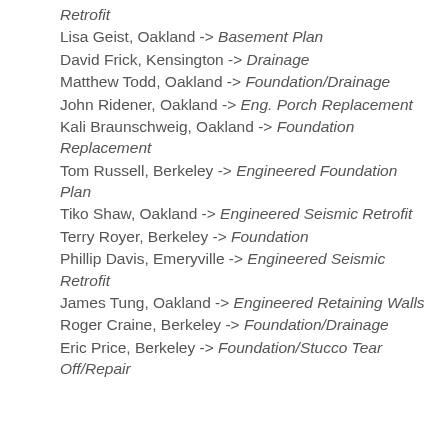Retrofit
Lisa Geist, Oakland -> Basement Plan
David Frick, Kensington -> Drainage
Matthew Todd, Oakland -> Foundation/Drainage
John Ridener, Oakland -> Eng. Porch Replacement
Kali Braunschweig, Oakland -> Foundation Replacement
Tom Russell, Berkeley -> Engineered Foundation Plan
Tiko Shaw, Oakland -> Engineered Seismic Retrofit
Terry Royer, Berkeley -> Foundation
Phillip Davis, Emeryville -> Engineered Seismic Retrofit
James Tung, Oakland -> Engineered Retaining Walls
Roger Craine, Berkeley -> Foundation/Drainage
Eric Price, Berkeley -> Foundation/Stucco Tear Off/Repair